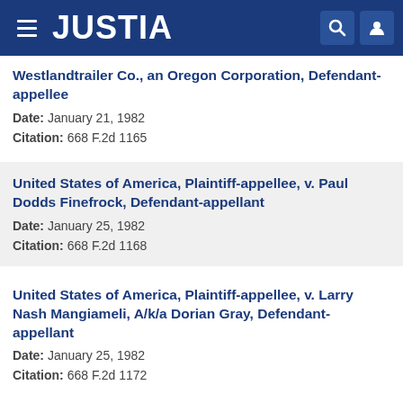JUSTIA
Westlandtrailer Co., an Oregon Corporation, Defendant-appellee
Date: January 21, 1982
Citation: 668 F.2d 1165
United States of America, Plaintiff-appellee, v. Paul Dodds Finefrock, Defendant-appellant
Date: January 25, 1982
Citation: 668 F.2d 1168
United States of America, Plaintiff-appellee, v. Larry Nash Mangiameli, A/k/a Dorian Gray, Defendant-appellant
Date: January 25, 1982
Citation: 668 F.2d 1172